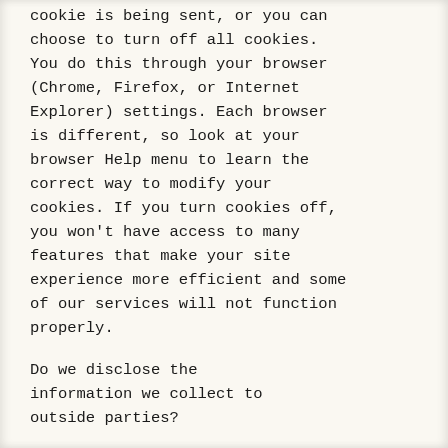cookie is being sent, or you can choose to turn off all cookies. You do this through your browser (Chrome, Firefox, or Internet Explorer) settings. Each browser is different, so look at your browser Help menu to learn the correct way to modify your cookies. If you turn cookies off, you won't have access to many features that make your site experience more efficient and some of our services will not function properly.
Do we disclose the information we collect to outside parties?
We do not sell, trade, or otherwise transfer to outside